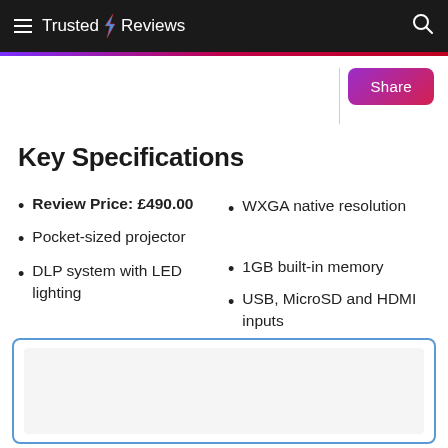Trusted Reviews
Key Specifications
Review Price: £490.00
Pocket-sized projector
DLP system with LED lighting
WXGA native resolution
1GB built-in memory
USB, MicroSD and HDMI inputs
[Figure (other): Image placeholder box with light gray background and blue border]